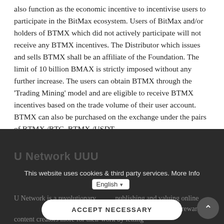also function as the economic incentive to incentivise users to participate in the BitMax ecosystem. Users of BitMax and/or holders of BTMX which did not actively participate will not receive any BTMX incentives. The Distributor which issues and sells BTMX shall be an affiliate of the Foundation. The limit of 10 billion BMAX is strictly imposed without any further increase. The users can obtain BTMX through the 'Trading Mining' model and are eligible to receive BTMX incentives based on the trade volume of their user account. BTMX can also be purchased on the exchange under the pairs of BTMX /BTC, BTMX /USDT.
U Network UUU
This website uses cookies & third party services. More Info  English
U Network is a revolutionary publishing and valuing online content platform. It better align with... does not rewarding content creators more for their work by letting